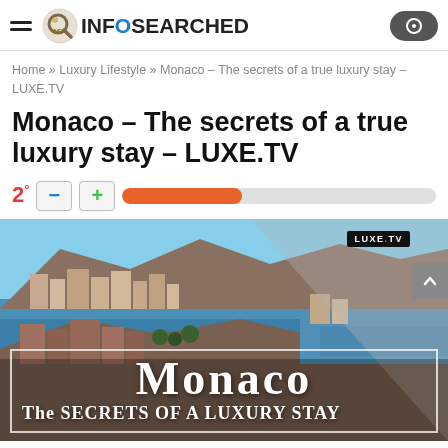INFOSEARCHED
Home » Luxury Lifestyle » Monaco – The secrets of a true luxury stay – LUXE.TV
Monaco – The secrets of a true luxury stay – LUXE.TV
2°
[Figure (photo): Aerial photo of Monaco coastline with overlay text: MONACO / The secrets of a luxury stay. LUXE.TV badge in top right.]